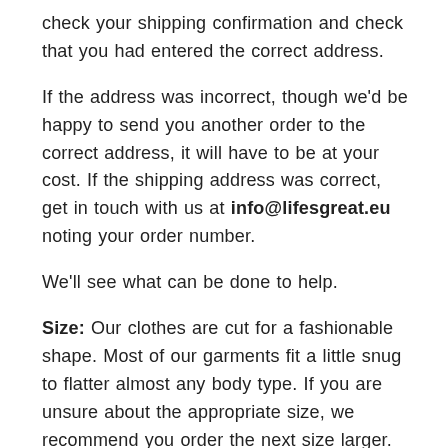check your shipping confirmation and check that you had entered the correct address.
If the address was incorrect, though we'd be happy to send you another order to the correct address, it will have to be at your cost. If the shipping address was correct, get in touch with us at info@lifesgreat.eu noting your order number.
We'll see what can be done to help.
Size: Our clothes are cut for a fashionable shape. Most of our garments fit a little snug to flatter almost any body type. If you are unsure about the appropriate size, we recommend you order the next size larger.
See more FAQs